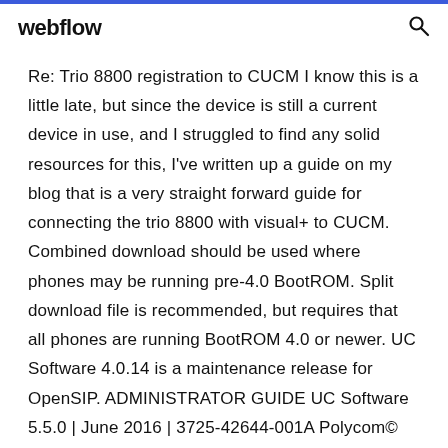webflow
Re: Trio 8800 registration to CUCM I know this is a little late, but since the device is still a current device in use, and I struggled to find any solid resources for this, I've written up a guide on my blog that is a very straight forward guide for connecting the trio 8800 with visual+ to CUCM. Combined download should be used where phones may be running pre-4.0 BootROM. Split download file is recommended, but requires that all phones are running BootROM 4.0 or newer. UC Software 4.0.14 is a maintenance release for OpenSIP. ADMINISTRATOR GUIDE UC Software 5.5.0 | June 2016 | 3725-42644-001A Polycom© UC Software 5.5.0 JRE000 will not provision from